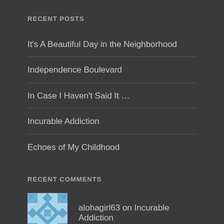RECENT POSTS
It's A Beautiful Day in the Neighborhood
Independence Boulevard
In Case I Haven't Said It …
Incurable Addiction
Echoes of My Childhood
RECENT COMMENTS
alohagirl63 on Incurable Addiction